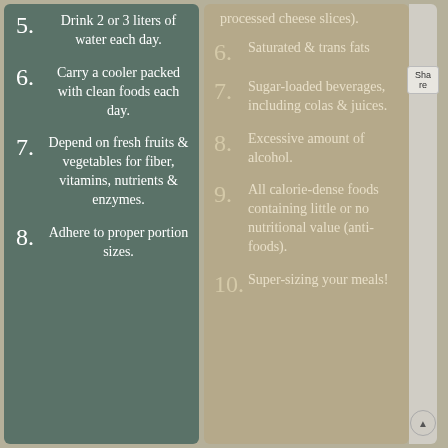5. Drink 2 or 3 liters of water each day.
6. Carry a cooler packed with clean foods each day.
7. Depend on fresh fruits & vegetables for fiber, vitamins, nutrients & enzymes.
8. Adhere to proper portion sizes.
processed cheese slices).
6. Saturated & trans fats
7. Sugar-loaded beverages, including colas & juices.
8. Excessive amount of alcohol.
9. All calorie-dense foods containing little or no nutritional value (anti-foods).
10. Super-sizing your meals!